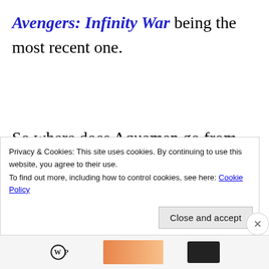Avengers: Infinity War being the most recent one.
So where does Aquaman go from here?  In his first movie out of the gate he saves the world, which is symptomatic of the sheer lack of imagination that's falling into these movies
Privacy & Cookies: This site uses cookies. By continuing to use this website, you agree to their use.
To find out more, including how to control cookies, see here: Cookie Policy
Close and accept